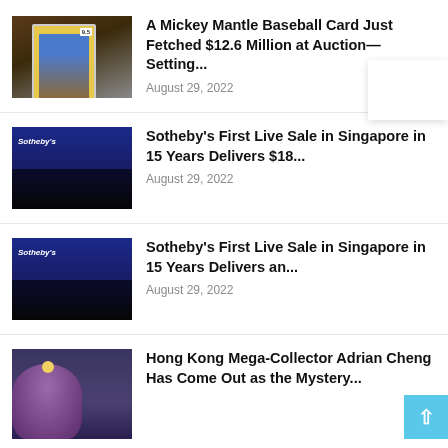[Figure (photo): Baseball card (Mickey Mantle) in protective case showing 9.5 grade]
A Mickey Mantle Baseball Card Just Fetched $12.6 Million at Auction—Setting...
August 29, 2022
[Figure (photo): Sotheby's auction with auctioneer at podium and audience crowd]
Sotheby's First Live Sale in Singapore in 15 Years Delivers $18...
August 29, 2022
[Figure (photo): Sotheby's auction with auctioneer at podium and audience crowd]
Sotheby's First Live Sale in Singapore in 15 Years Delivers an...
August 29, 2022
[Figure (illustration): Anime-style character with purple hair and flower accessory on dark blue/purple background]
Hong Kong Mega-Collector Adrian Cheng Has Come Out as the Mystery...